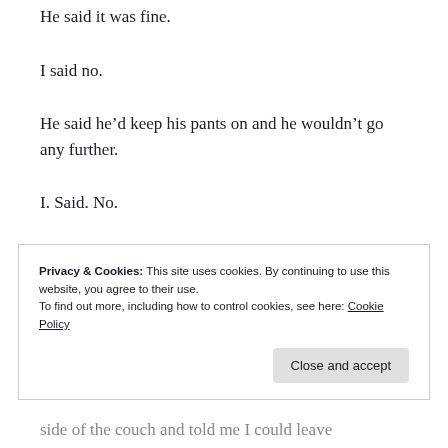He said it was fine.
I said no.
He said he'd keep his pants on and he wouldn't go any further.
I. Said. No.
But that didn't matter.
He held me down so I couldn't move. Pinned down my arms so I couldn't push him back. I didn't know
Privacy & Cookies: This site uses cookies. By continuing to use this website, you agree to their use.
To find out more, including how to control cookies, see here: Cookie Policy
side of the couch and told me I could leave